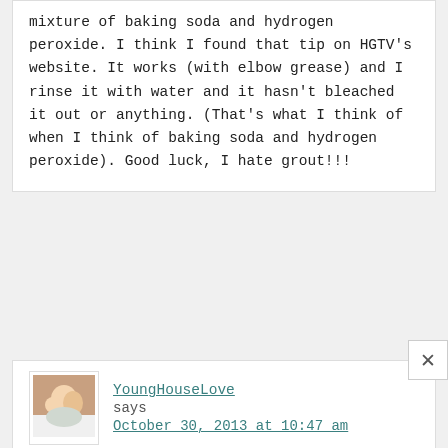mixture of baking soda and hydrogen peroxide. I think I found that tip on HGTV's website. It works (with elbow grease) and I rinse it with water and it hasn't bleached it out or anything. (That's what I think of when I think of baking soda and hydrogen peroxide). Good luck, I hate grout!!!
YoungHouseLove says October 30, 2013 at 10:47 am
Sounds awesome! Thanks for sharing the tip Stephanie!
xo